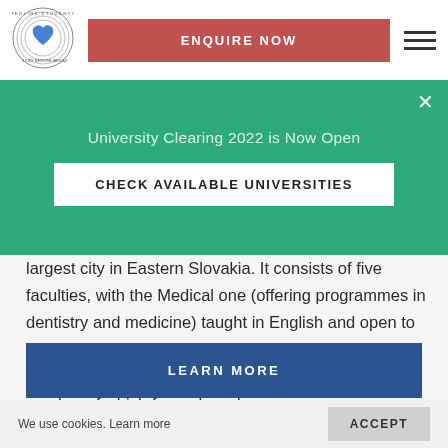[Figure (logo): Medlink Students circular logo with heart design and text 'Study Medicine Abroad']
ENQUIRE NOW
University Clearing 2022 is Now Open
CHECK AVAILABLE UNIVERSITIES
largest city in Eastern Slovakia. It consists of five faculties, with the Medical one (offering programmes in dentistry and medicine) taught in English and open to international students. Currently, over 7500 students have trusted the university with their future, a good number of which from abroad.
LEARN MORE
We use cookies. Learn more
ACCEPT